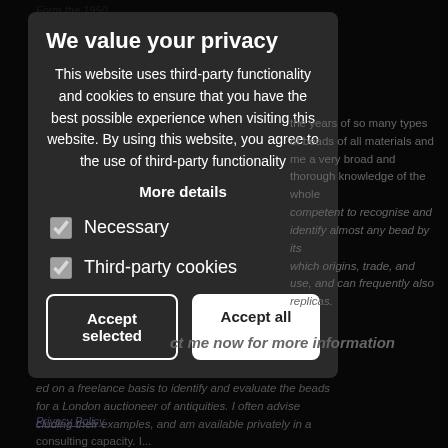[Figure (screenshot): A cookie/privacy consent modal overlay on a dark-themed webpage. The modal has a title 'We value your privacy', body text about third-party functionality and cookies, a 'More details' link, two checkboxes (Necessary checked grey, Third-party cookies checked blue), and two buttons: 'Accept selected' (dark with white border) and 'Accept all' (white). Behind the modal, partially visible italic webpage text about beads and antiques.]